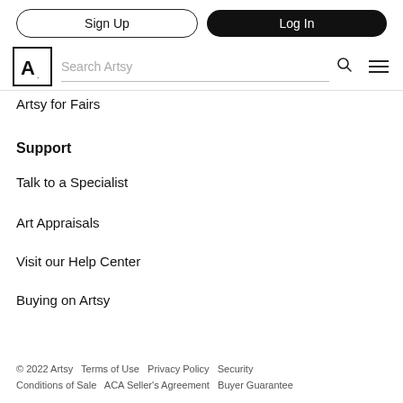Sign Up | Log In | Search Artsy
Artsy for Fairs
Support
Talk to a Specialist
Art Appraisals
Visit our Help Center
Buying on Artsy
© 2022 Artsy   Terms of Use   Privacy Policy   Security   Conditions of Sale   ACA Seller's Agreement   Buyer Guarantee